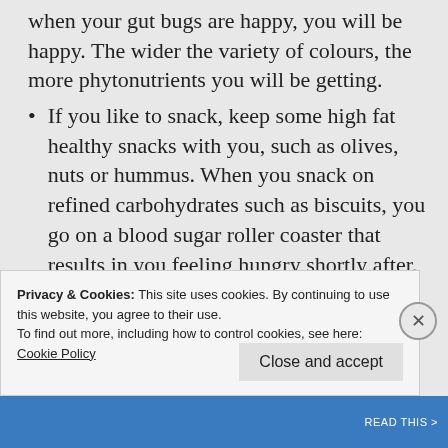when your gut bugs are happy, you will be happy. The wider the variety of colours, the more phytonutrients you will be getting.
If you like to snack, keep some high fat healthy snacks with you, such as olives, nuts or hummus. When you snack on refined carbohydrates such as biscuits, you go on a blood sugar roller coaster that results in you feeling hungry shortly after. Fats, on the other hand, will keep you fuller for longer.
Include high quality protein and fat with
Privacy & Cookies: This site uses cookies. By continuing to use this website, you agree to their use.
To find out more, including how to control cookies, see here:
Cookie Policy
Close and accept